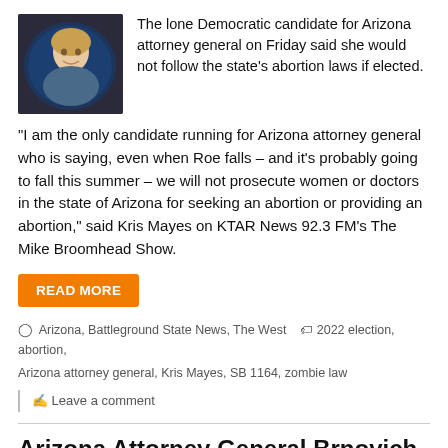[Figure (photo): Photo of a woman smiling, with what appears to be a dark background possibly showing a globe or earth image]
The lone Democratic candidate for Arizona attorney general on Friday said she would not follow the state's abortion laws if elected.
“I am the only candidate running for Arizona attorney general who is saying, even when Roe falls – and it’s probably going to fall this summer – we will not prosecute women or doctors in the state of Arizona for seeking an abortion or providing an abortion,” said Kris Mayes on KTAR News 92.3 FM’s The Mike Broomhead Show.
READ MORE
Arizona, Battleground State News, The West   2022 election, abortion, Arizona attorney general, Kris Mayes, SB 1164, zombie law
Leave a comment
Arizona Attorney General Brnovich Pulls Out of Leftward-Drifting National